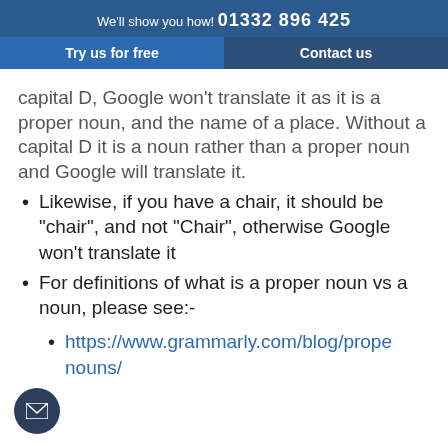We'll show you how! 01332 896 425 | Try us for free | Contact us
capital D, Google won't translate it as it is a proper noun, and the name of a place. Without a capital D it is a noun rather than a proper noun and Google will translate it.
Likewise, if you have a chair, it should be "chair", and not "Chair", otherwise Google won't translate it
For definitions of what is a proper noun vs a noun, please see:-
https://www.grammarly.com/blog/proper-nouns/